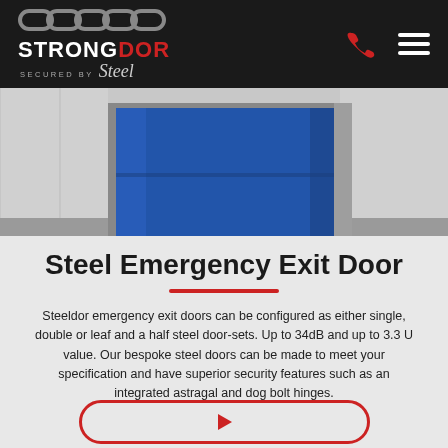STRONGDOR – SECURED BY Steel
[Figure (photo): Steel emergency exit door – blue steel door panel mounted in a frame, photographed in a corridor with grey flooring and white walls]
Steel Emergency Exit Door
Steeldor emergency exit doors can be configured as either single, double or leaf and a half steel door-sets. Up to 34dB and up to 3.3 U value. Our bespoke steel doors can be made to meet your specification and have superior security features such as an integrated astragal and dog bolt hinges.